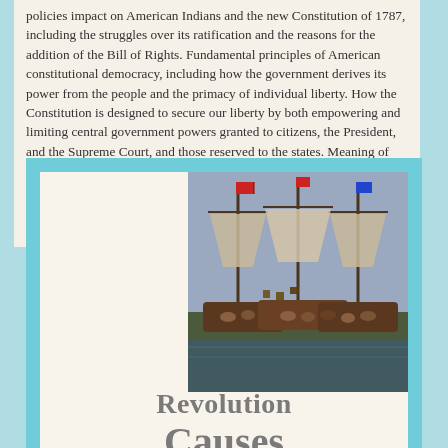policies impact on American Indians and the new Constitution of 1787, including the struggles over its ratification and the reasons for the addition of the Bill of Rights. Fundamental principles of American constitutional democracy, including how the government derives its power from the people and the primacy of individual liberty. How the Constitution is designed to secure our liberty by both empowering and limiting central government powers granted to citizens, the President, and the Supreme Court, and those reserved to the states. Meaning of our national creed that calls on citizens to safeguard the liberty of individual Americans within a unified nation, to respect the rule of law, and to preserve the Constitution. Know the songs that express American ideals.
[Figure (illustration): Historical painting/illustration of what appears to be the Boston Tea Party or a Revolutionary War era maritime scene with ships, crowds, and flags]
Revolution
Causes
Videos
Topics include the following: Causes of the American Revolution. How political, religious, and economic ideas and interests brought about the Revolution. Significance of the first and second Continental Congresses and of the Committees of Correspondence. Understand the...